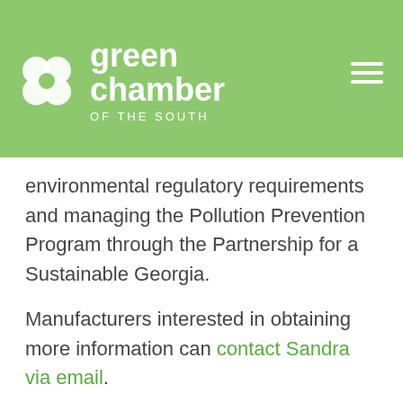[Figure (logo): Green Chamber of the South logo: four-leaf clover icon in white with 'green chamber OF THE SOUTH' text in white on a green background, with a hamburger menu icon on the right]
environmental regulatory requirements and managing the Pollution Prevention Program through the Partnership for a Sustainable Georgia.
Manufacturers interested in obtaining more information can contact Sandra via email.
The RCE Greater Atlanta continues to be a supportive partner. The Green Chamber works closely with the leadership team for